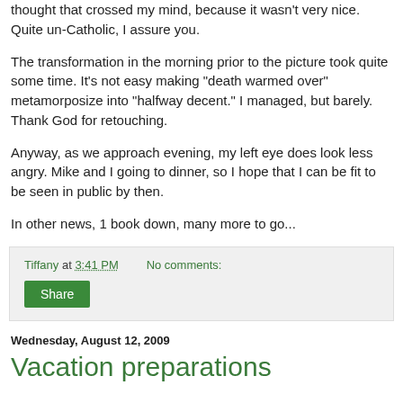thought that crossed my mind, because it wasn't very nice. Quite un-Catholic, I assure you.
The transformation in the morning prior to the picture took quite some time. It's not easy making "death warmed over" metamorposize into "halfway decent." I managed, but barely. Thank God for retouching.
Anyway, as we approach evening, my left eye does look less angry. Mike and I going to dinner, so I hope that I can be fit to be seen in public by then.
In other news, 1 book down, many more to go...
Tiffany at 3:41 PM   No comments:
Share
Wednesday, August 12, 2009
Vacation preparations